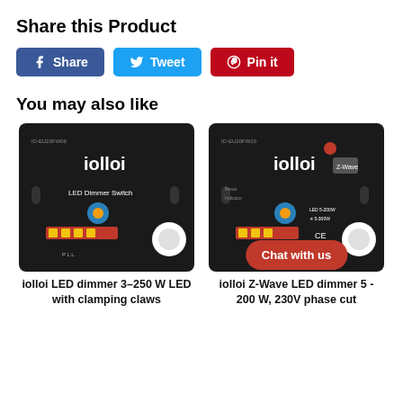Share this Product
[Figure (other): Social share buttons: Facebook Share, Twitter Tweet, Pinterest Pin it]
You may also like
[Figure (photo): iolloi LED Dimmer Switch product photo, black module with blue dial]
iolloi LED dimmer 3–250 W LED with clamping claws
[Figure (photo): iolloi Z-Wave LED Dimmer product photo, black module with blue dial and Z-Wave badge, with Chat with us overlay button]
iolloi Z-Wave LED dimmer 5 - 200 W, 230V phase cut